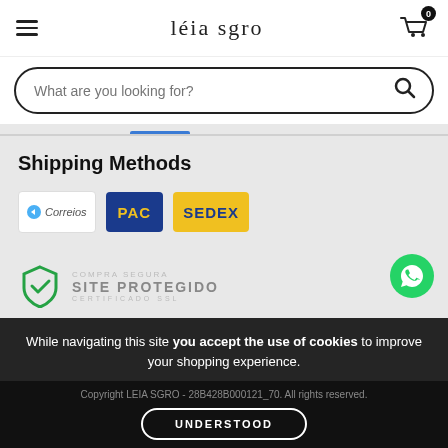léia sgro
What are you looking for?
Shipping Methods
[Figure (logo): Shipping logos: Correios, PAC, SEDEX]
[Figure (logo): COMPRA SEGURA - SITE PROTEGIDO - CERTIFICADO SSL shield badge]
While navigating this site you accept the use of cookies to improve your shopping experience.
Copyright LEIA SGRO - 28B428B000121_70. All rights reserved.